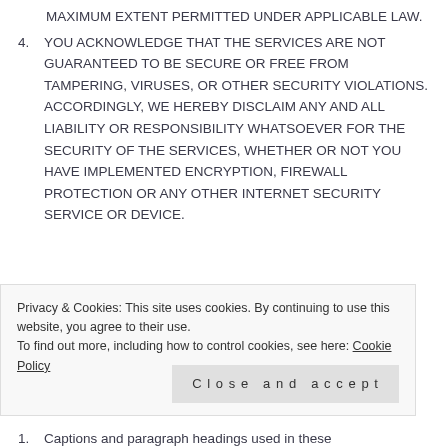MAXIMUM EXTENT PERMITTED UNDER APPLICABLE LAW.
4. YOU ACKNOWLEDGE THAT THE SERVICES ARE NOT GUARANTEED TO BE SECURE OR FREE FROM TAMPERING, VIRUSES, OR OTHER SECURITY VIOLATIONS. ACCORDINGLY, WE HEREBY DISCLAIM ANY AND ALL LIABILITY OR RESPONSIBILITY WHATSOEVER FOR THE SECURITY OF THE SERVICES, WHETHER OR NOT YOU HAVE IMPLEMENTED ENCRYPTION, FIREWALL PROTECTION OR ANY OTHER INTERNET SECURITY SERVICE OR DEVICE.
Privacy & Cookies: This site uses cookies. By continuing to use this website, you agree to their use.
To find out more, including how to control cookies, see here: Cookie Policy
1. Captions and paragraph headings used in these